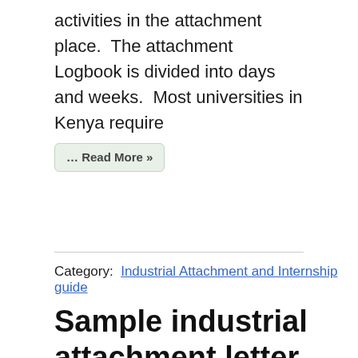activities in the attachment place.  The attachment Logbook is divided into days and weeks.  Most universities in Kenya require
... Read More »
Category:  Industrial Attachment and Internship guide
Sample industrial attachment letter and how to write an industrial attachment application letter